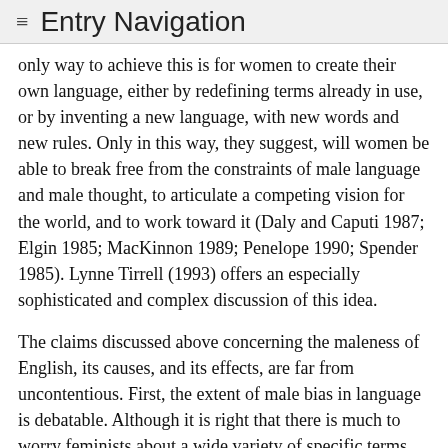≡ Entry Navigation
only way to achieve this is for women to create their own language, either by redefining terms already in use, or by inventing a new language, with new words and new rules. Only in this way, they suggest, will women be able to break free from the constraints of male language and male thought, to articulate a competing vision for the world, and to work toward it (Daly and Caputi 1987; Elgin 1985; MacKinnon 1989; Penelope 1990; Spender 1985). Lynne Tirrell (1993) offers an especially sophisticated and complex discussion of this idea.
The claims discussed above concerning the maleness of English, its causes, and its effects, are far from uncontentious. First, the extent of male bias in language is debatable. Although it is right that there is much to worry feminists about a wide variety of specific terms and usages, it is far from clear that it is appropriate to claim that English is male-biased in some sweeping sense. It is also unclear exactly what the claim being made is. If this claim is taken to be that every term is male-biased, then it